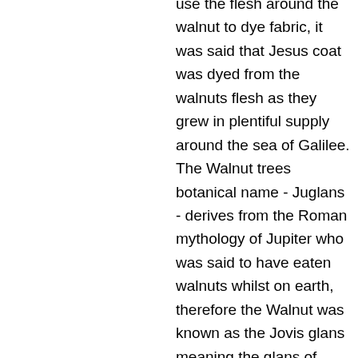use the flesh around the walnut to dye fabric, it was said that Jesus coat was dyed from the walnuts flesh as they grew in plentiful supply around the sea of Galilee. The Walnut trees botanical name - Juglans - derives from the Roman mythology of Jupiter who was said to have eaten walnuts whilst on earth, therefore the Walnut was known as the Jovis glans meaning the glans of Jupiter